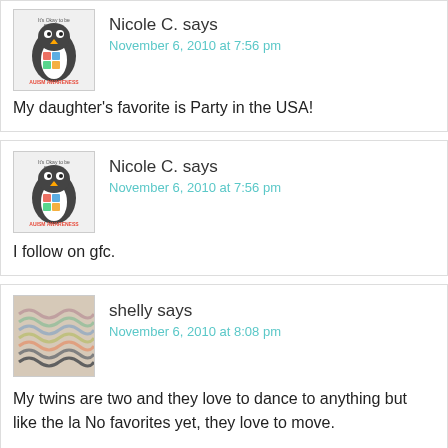[Figure (illustration): Autism awareness penguin avatar with colorful puzzle piece pattern]
November 6, 2010 at 7:56 pm
My daughter's favorite is Party in the USA!
Nicole C. says
[Figure (illustration): Autism awareness penguin avatar with colorful puzzle piece pattern]
November 6, 2010 at 7:56 pm
I follow on gfc.
shelly says
[Figure (illustration): Wavy colorful lines pattern avatar on beige background]
November 6, 2010 at 8:08 pm
My twins are two and they love to dance to anything but like the la No favorites yet, they love to move.